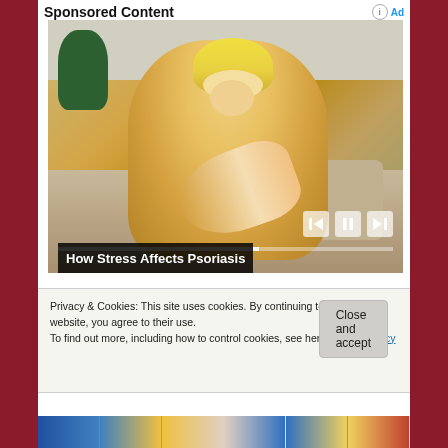Sponsored Content
[Figure (photo): Woman in yellow sweater scratching her arm/elbow, sitting on a couch, with video playback controls overlay. Caption reads 'How Stress Affects Psoriasis'.]
How Stress Affects Psoriasis
Privacy & Cookies: This site uses cookies. By continuing to use this website, you agree to their use.
To find out more, including how to control cookies, see here: Cookie Policy
Close and accept